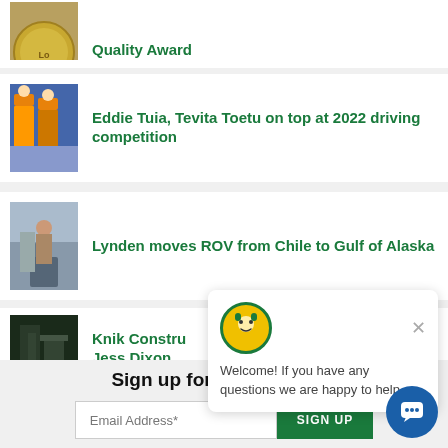Lynden Transport Earns 20th Quest for Quality Award
[Figure (photo): Circular gold medal/logo badge partially visible]
Eddie Tuia, Tevita Toetu on top at 2022 driving competition
[Figure (photo): Two workers in orange safety vests]
Lynden moves ROV from Chile to Gulf of Alaska
[Figure (photo): Worker crouching near industrial equipment]
Knik Constru... Jess Dixon
[Figure (photo): Dark industrial/construction scene]
Follow us!
Sign up for Lynden news
Email Address*
SIGN UP
Welcome! If you have any questions we are happy to help.